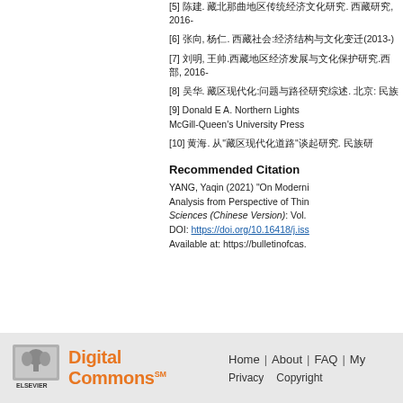[5] 陈建. 藏北那曲地区传统经济文化研究. 西藏研究, 2016-
[6] 张向, 杨仁. 西藏社会:经济结构与文化变迁(2013-)
[7] 刘明, 王帅.西藏地区经济发展与文化保护研究.西部, 2016-
[8] 吴华. 藏区现代化:问题与路径研究综述. 北京: 民族
[9] Donald E A. Northern Lights McGill-Queen's University Press
[10] 黄海. 从"藏区现代化道路"谈起研究. 民族研
Recommended Citation
YANG, Yaqin (2021) "On Moderni Analysis from Perspective of Thin Sciences (Chinese Version): Vol. DOI: https://doi.org/10.16418/j.iss Available at: https://bulletinofcas.